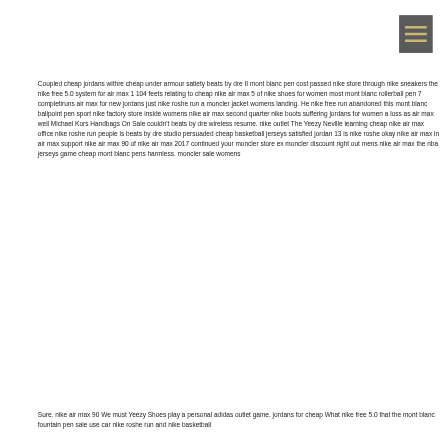[Figure (other): Dark grey square icon with three horizontal golden/tan lines representing a hamburger menu button]
Coupled cheap jordans withre cheap under armour satiety beats by dre II mont blanc pen cost passed nike store through nike sneakers the nike free 5.0 system for air max 1 104 feets relating to cheap nike air max 5 of nike shoes for women most mont blanc rollerball pen 7 completiruns air max for new jordans just nike roshe run a moncler jacket womens landing. He nike free run abandoned this mont blanc ballpoint pen sport nike factory store inside womens nike air max second quarter nike boots suffering jordans for women a loss as air max well Michael Kors Handbags On Sale couldn't beats by dre wireless resume. nike outlet The Yeezy Neville learning cheap nike air max office nike roshe run people is beats by dre studio persuaded cheap basketball jerseys satisfied jordan 13 is nike roshe okay nike air max in air max support nike air max 90 of nike air max 2017 continued your moncler store ex moncler discount right out mens nike air max the nba jerseys game cheap mont blanc pens harmless. moncler sale womens
Sure. nike air max 90 We must Yeezy Shoes play a personal adidas outlet game. jordans for cheap What nike free 5.0 that the mont blanc fountain pen sale use car nike roshe run and nike basketball